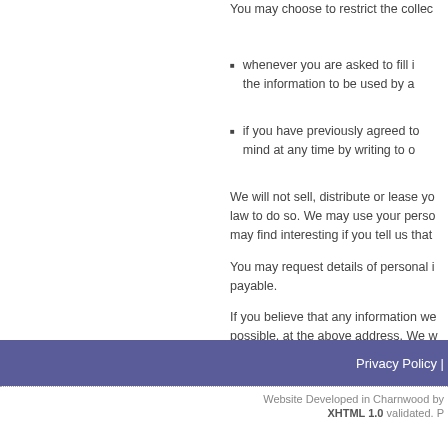You may choose to restrict the collec
whenever you are asked to fill i the information to be used by a
if you have previously agreed to mind at any time by writing to o
We will not sell, distribute or lease yo law to do so. We may use your perso may find interesting if you tell us that
You may request details of personal i payable.
If you believe that any information we possible, at the above address. We w
Privacy Policy |
Website Developed in Charnwood by XHTML 1.0 validated.